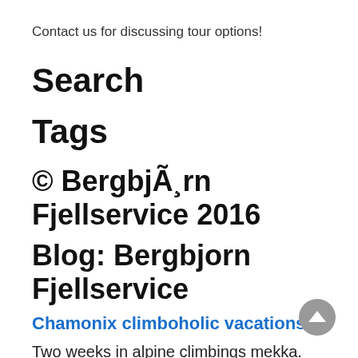Contact us for discussing tour options!
Search
Tags
© BergbjÃ¸rn Fjellservice 2016
Blog: Bergbjorn Fjellservice
Chamonix climboholic vacations
Two weeks in alpine climbings mekka. Two weeks with perfect weather, and a long to-do